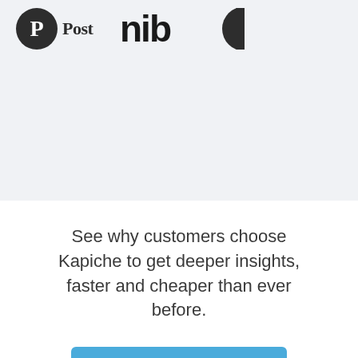[Figure (logo): Partial logos row on light grey background: Washington Post logo (circle with P and 'Post' text), nib logo, and partial circle logo]
See why customers choose Kapiche to get deeper insights, faster and cheaper than ever before.
Chat with us